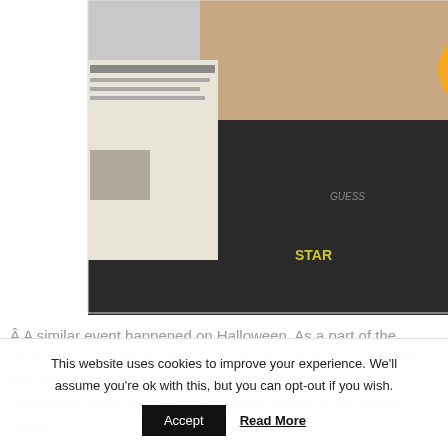[Figure (photo): Person in black shirt holding a newspaper, with social media icons (RSS, Follow, Facebook, Twitter) visible in upper right area of photo]
Â A similar event happened on Halloween. As a part of the âLetters for Literacyâ event for local literacy charity Be the Star You Are!Â®, I, and a chamber group of friends performed some spooky and whimsical tunes at the Rheem Valley
This website uses cookies to improve your experience. We'll assume you're ok with this, but you can opt-out if you wish.